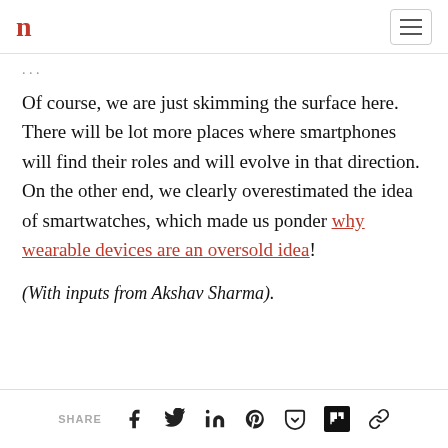n [logo] [hamburger menu]
Of course, we are just skimming the surface here. There will be lot more places where smartphones will find their roles and will evolve in that direction. On the other end, we clearly overestimated the idea of smartwatches, which made us ponder why wearable devices are an oversold idea!
(With inputs from Akshav Sharma).
SHARE [facebook] [twitter] [linkedin] [pinterest] [pocket] [flipboard] [link]